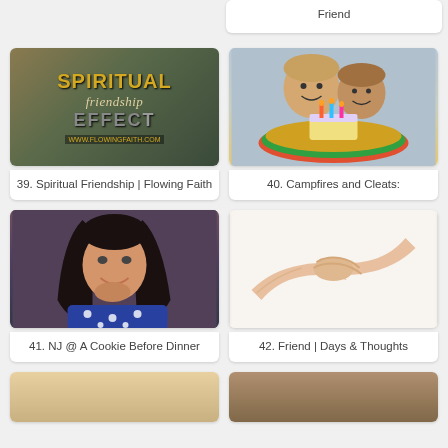Friend
[Figure (photo): Book cover for Spiritual Friendship Effect with text overlay and sheep, from www.flowingfaith.com]
39. Spiritual Friendship | Flowing Faith
[Figure (photo): Two boys smiling with a birthday cake with candles on a colorful board]
40. Campfires and Cleats:
[Figure (photo): Young woman with long dark hair, smiling, wearing blue polka dot top]
41. NJ @ A Cookie Before Dinner
[Figure (photo): Two hands clasped/holding together on white background]
42. Friend | Days & Thoughts
[Figure (photo): Partial photo at bottom left, person visible from forehead up]
[Figure (photo): Partial photo at bottom right, person in doorway or window]